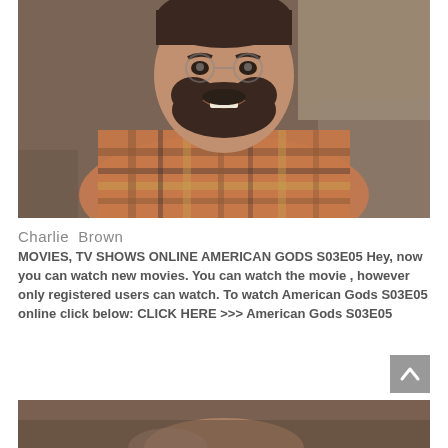[Figure (photo): Portrait photo of a bearded man wearing a plaid flannel shirt, smiling, with a blurred workshop/office background]
Charlie Brown
MOVIES, TV SHOWS ONLINE AMERICAN GODS S03E05 Hey, now you can watch new movies. You can watch the movie , however only registered users can watch. To watch American Gods S03E05 online click below: CLICK HERE >>> American Gods S03E05
[Figure (photo): Partial photo visible at the bottom of the page, appears to be another person in a similar setting]